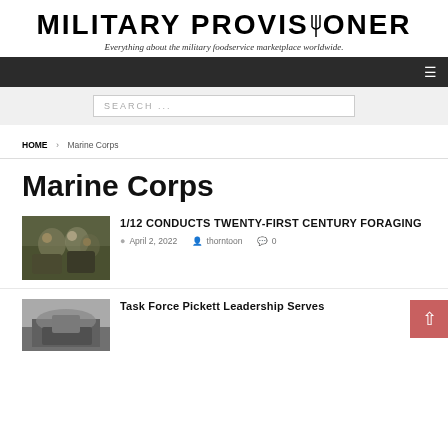MILITARY PROVISIONER
Everything about the military foodservice marketplace worldwide.
HOME > Marine Corps
Marine Corps
1/12 CONDUCTS TWENTY-FIRST CENTURY FORAGING
April 2, 2022  thorntoon  0
Task Force Pickett Leadership Serves